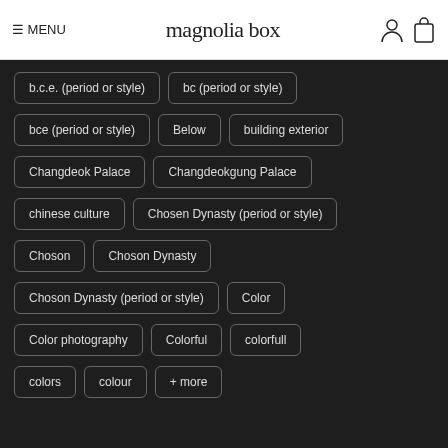≡ MENU | magnolia box
b.c.e. (period or style)
bc (period or style)
bce (period or style)
Below
building exterior
Changdeok Palace
Changdeokgung Palace
chinese culture
Chosen Dynasty (period or style)
Choson
Choson Dynasty
Choson Dynasty (period or style)
Color
Color photography
Colorful
colorfull
colors
colour
+ more